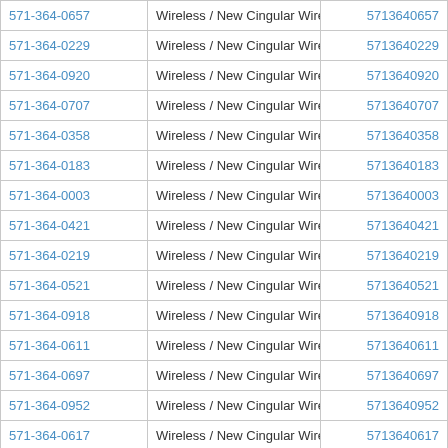| 571-364-0657 | Wireless / New Cingular Wireless PCS - DC | 5713640657 |
| 571-364-0229 | Wireless / New Cingular Wireless PCS - DC | 5713640229 |
| 571-364-0920 | Wireless / New Cingular Wireless PCS - DC | 5713640920 |
| 571-364-0707 | Wireless / New Cingular Wireless PCS - DC | 5713640707 |
| 571-364-0358 | Wireless / New Cingular Wireless PCS - DC | 5713640358 |
| 571-364-0183 | Wireless / New Cingular Wireless PCS - DC | 5713640183 |
| 571-364-0003 | Wireless / New Cingular Wireless PCS - DC | 5713640003 |
| 571-364-0421 | Wireless / New Cingular Wireless PCS - DC | 5713640421 |
| 571-364-0219 | Wireless / New Cingular Wireless PCS - DC | 5713640219 |
| 571-364-0521 | Wireless / New Cingular Wireless PCS - DC | 5713640521 |
| 571-364-0918 | Wireless / New Cingular Wireless PCS - DC | 5713640918 |
| 571-364-0611 | Wireless / New Cingular Wireless PCS - DC | 5713640611 |
| 571-364-0697 | Wireless / New Cingular Wireless PCS - DC | 5713640697 |
| 571-364-0952 | Wireless / New Cingular Wireless PCS - DC | 5713640952 |
| 571-364-0617 | Wireless / New Cingular Wireless PCS - DC | 5713640617 |
| 571-364-0043 | Wireless / New Cingular Wireless PCS - DC | 5713640043 |
| 571-364-0666 | Wireless / New Cingular Wireless PCS - DC | 5713640666 |
| 571-364-0943 | Wireless / New Cingular Wireless PCS - DC | 5713640943 |